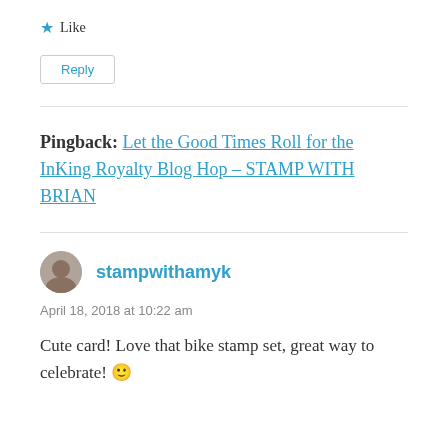★ Like
Reply
Pingback: Let the Good Times Roll for the InKing Royalty Blog Hop – STAMP WITH BRIAN
stampwithamyk
April 18, 2018 at 10:22 am
Cute card! Love that bike stamp set, great way to celebrate! 🙂